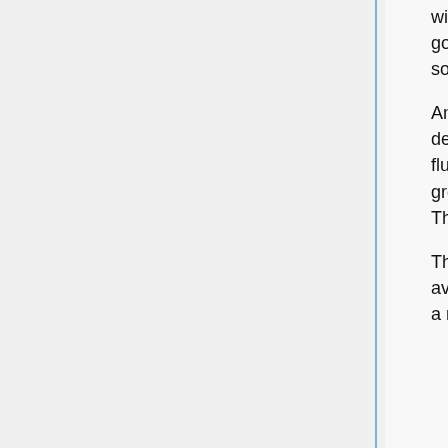with blue spokes. And as its whispery sputters of music kick in, the great golden horn above softly wails, midway through a harmony that joins Odeta's song seamlessly.
And as the record plays, so does Odeta. She adds her piano sparingly but decisively, plucking melody from smooth grainy walls of sound. A gutteral wind flutters her hair as Oktavia bends her heavy helm further to listen, the iron growl a mixture of satiety and pain, like feeling coming back to a numb hand. The song just seems to be beginning, and--
The needle slips off the carriage wheel. Such a wheel only has a thin ring available to play on; now the spokes just gently tap the needle now and again, a rhythm without a song.